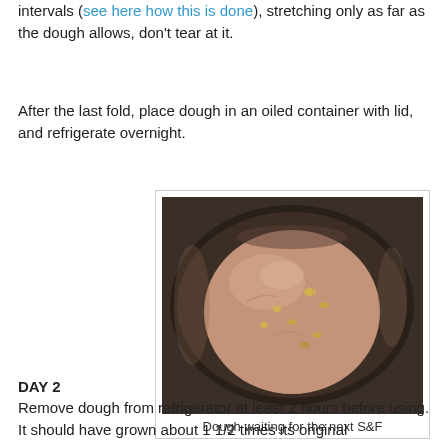intervals (see here how this is done), stretching only as far as the dough allows, don't tear at it.
After the last fold, place dough in an oiled container with lid, and refrigerate overnight.
[Figure (photo): A ball of bread dough with visible inclusions (corn or nuts) resting in a dark oiled bowl.]
Dough waiting for the next S&F
DAY 2
Remove dough from refrigerator at least 2 hours before using. It should have grown about 1 1/2 times its original